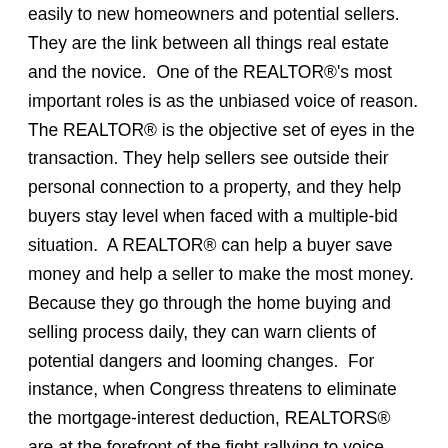easily to new homeowners and potential sellers. They are the link between all things real estate and the novice.  One of the REALTOR®'s most important roles is as the unbiased voice of reason. The REALTOR® is the objective set of eyes in the transaction. They help sellers see outside their personal connection to a property, and they help buyers stay level when faced with a multiple-bid situation.  A REALTOR® can help a buyer save money and help a seller to make the most money. Because they go through the home buying and selling process daily, they can warn clients of potential dangers and looming changes.  For instance, when Congress threatens to eliminate the mortgage-interest deduction, REALTORS® are at the forefront of the fight rallying to voice their support and save the measure. They are the link between housing policy and the consumer.

A REALTOR® maintains a customer-focused approach.